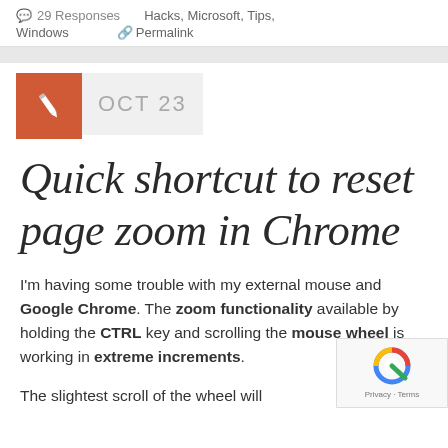29 Responses   Hacks, Microsoft, Tips, Windows   Permalink
Quick shortcut to reset page zoom in Chrome
I'm having some trouble with my external mouse and Google Chrome. The zoom functionality available by holding the CTRL key and scrolling the mouse wheel is working in extreme increments.
The slightest scroll of the wheel will